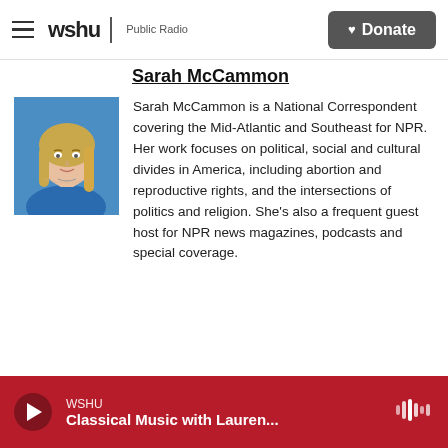wshu Public Radio — Donate
Sarah McCammon
[Figure (photo): Headshot of Sarah McCammon, a woman with long blonde hair wearing a blue sleeveless top, against a blue background]
Sarah McCammon is a National Correspondent covering the Mid-Atlantic and Southeast for NPR. Her work focuses on political, social and cultural divides in America, including abortion and reproductive rights, and the intersections of politics and religion. She's also a frequent guest host for NPR news magazines, podcasts and special coverage.
WSHU — Classical Music with Lauren...